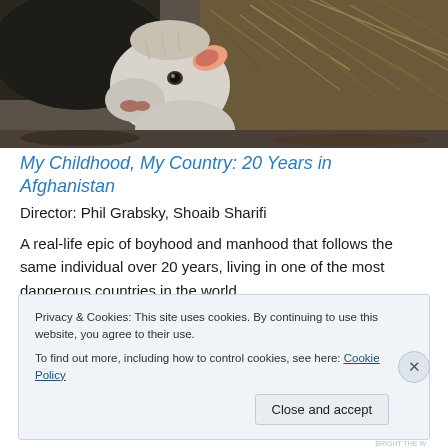[Figure (photo): Close-up photograph of a white/light-colored goat or sheep near dry brush/hay, with a person partially visible in dark clothing in the background.]
My Childhood, My Country: 20 Years in Afghanistan
Director: Phil Grabsky, Shoaib Sharifi
A real-life epic of boyhood and manhood that follows the same individual over 20 years, living in one of the most dangerous countries in the world.
Privacy & Cookies: This site uses cookies. By continuing to use this website, you agree to their use.
To find out more, including how to control cookies, see here: Cookie Policy
Close and accept